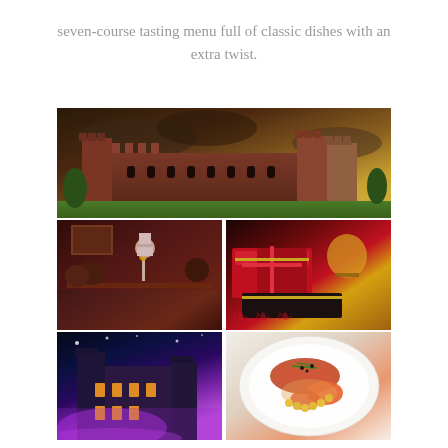seven-course tasting menu full of classic dishes with an extra twist.
[Figure (photo): A collage of five photos: top large image of a red sandstone castle with green lawns under dramatic cloudy sky; middle left shows a chef in white hat presenting to seated diners at a candlelit table; middle right shows luxury red gift boxes with a glass of whisky; bottom left shows a castle illuminated with purple lights at night; bottom right shows a gourmet seafood dish on a white plate with prawns and fish.]